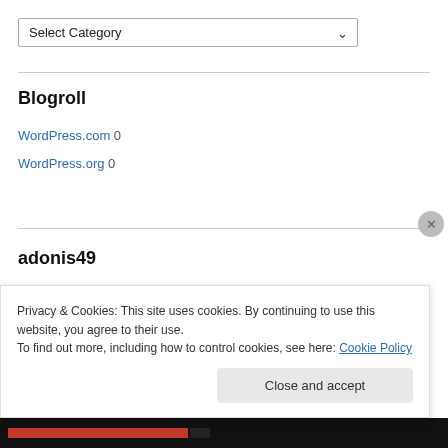[Figure (screenshot): Dropdown select box labeled 'Select Category' with a chevron arrow on the right]
Blogroll
WordPress.com 0
WordPress.org 0
adonis49
DECEMBER 2011
| M | T | W | T | F | S | S |
| --- | --- | --- | --- | --- | --- | --- |
Privacy & Cookies: This site uses cookies. By continuing to use this website, you agree to their use.
To find out more, including how to control cookies, see here: Cookie Policy
Close and accept